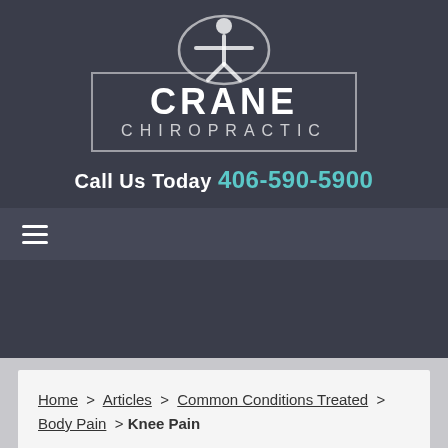[Figure (logo): Crane Chiropractic logo with person figure inside an oval, text CRANE CHIROPRACTIC in a bordered box]
Call Us Today 406-590-5900
[Figure (other): Hamburger menu icon (three horizontal lines)]
Home > Articles > Common Conditions Treated > Body Pain > Knee Pain